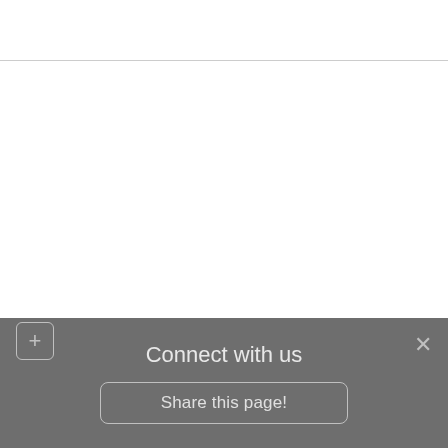Connect with us
Share this page!